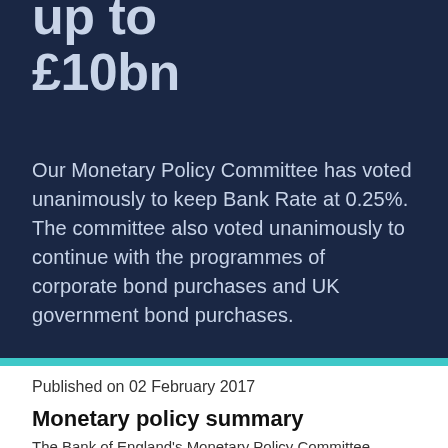purchases at up to £10bn
Our Monetary Policy Committee has voted unanimously to keep Bank Rate at 0.25%. The committee also voted unanimously to continue with the programmes of corporate bond purchases and UK government bond purchases.
Published on 02 February 2017
Monetary policy summary
The Bank of England's Monetary Policy Committee